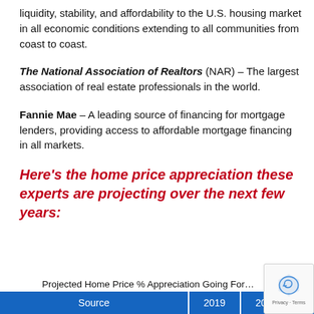liquidity, stability, and affordability to the U.S. housing market in all economic conditions extending to all communities from coast to coast.
The National Association of Realtors (NAR) – The largest association of real estate professionals in the world.
Fannie Mae – A leading source of financing for mortgage lenders, providing access to affordable mortgage financing in all markets.
Here's the home price appreciation these experts are projecting over the next few years:
Projected Home Price % Appreciation Going For...
| Source | 2019 | 2020 | 2021 |
| --- | --- | --- | --- |